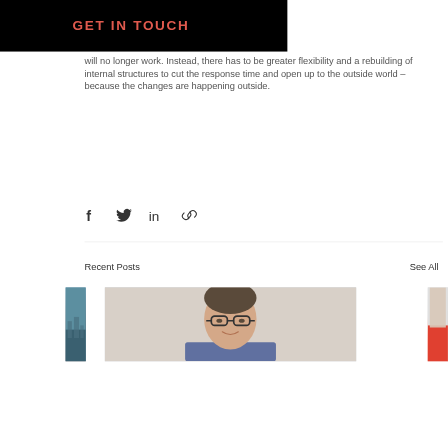GET IN TOUCH
will no longer work. Instead, there has to be greater flexibility and a rebuilding of internal structures to cut the response time and open up to the outside world – because the changes are happening outside.
[Figure (infographic): Social sharing icons row: Facebook, Twitter, LinkedIn, link/chain icon]
Recent Posts
See All
[Figure (photo): Three partially visible photos side by side: left shows a blue cityscape, center shows a man with glasses smiling in a suit, right shows a partial figure with red clothing]